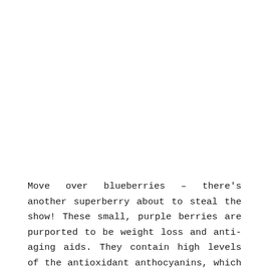Move over blueberries – there's another superberry about to steal the show! These small, purple berries are purported to be weight loss and anti-aging aids. They contain high levels of the antioxidant anthocyanins, which are known to fight cancer and heart disease. Try to buy the whole berry, which retains its fiber rather